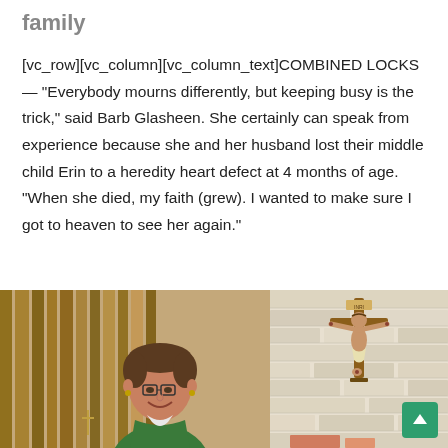family
[vc_row][vc_column][vc_column_text]COMBINED LOCKS — “Everybody mourns differently, but keeping busy is the trick,” said Barb Glasheen. She certainly can speak from experience because she and her husband lost their middle child Erin to a heredity heart defect at 4 months of age. “When she died, my faith (grew). I wanted to make sure I got to heaven to see her again.”
[Figure (photo): Left: photo of Barb Glasheen, a middle-aged woman with short brown hair wearing glasses and a green top, standing in front of wooden slats in a church setting. Right: photo of a crucifix mounted on a stone/brick wall in a church.]